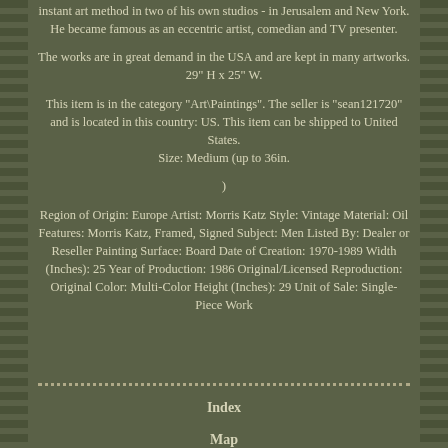instant art method in two of his own studios - in Jerusalem and New York. He became famous as an eccentric artist, comedian and TV presenter.
The works are in great demand in the USA and are kept in many artworks. 29" H x 25" W.
This item is in the category "Art\Paintings". The seller is "sean121720" and is located in this country: US. This item can be shipped to United States.
Size: Medium (up to 36in.
)
Region of Origin: Europe Artist: Morris Katz Style: Vintage Material: Oil Features: Morris Katz, Framed, Signed Subject: Men Listed By: Dealer or Reseller Painting Surface: Board Date of Creation: 1970-1989 Width (Inches): 25 Year of Production: 1986 Original/Licensed Reproduction: Original Color: Multi-Color Height (Inches): 29 Unit of Sale: Single-Piece Work
Index
Map